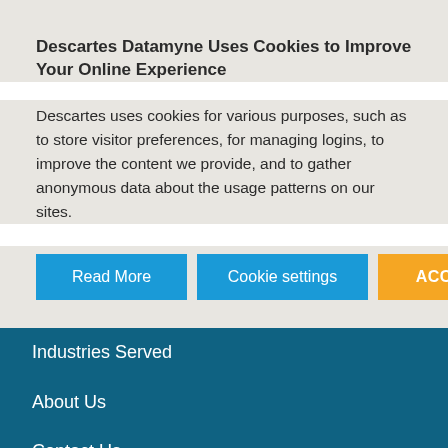Descartes Datamyne Uses Cookies to Improve Your Online Experience
Descartes uses cookies for various purposes, such as to store visitor preferences, for managing logins, to improve the content we provide, and to gather anonymous data about the usage patterns on our sites.
Read More
Cookie settings
ACCEPT ALL
Industries Served
About Us
Contact Us
Request a Demo
Datamyne Blog
Latest News